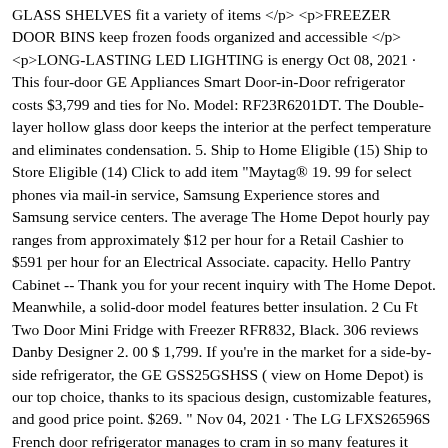GLASS SHELVES fit a variety of items </p> <p>FREEZER DOOR BINS keep frozen foods organized and accessible </p> <p>LONG-LASTING LED LIGHTING is energy Oct 08, 2021 · This four-door GE Appliances Smart Door-in-Door refrigerator costs $3,799 and ties for No. Model: RF23R6201DT. The Double-layer hollow glass door keeps the interior at the perfect temperature and eliminates condensation. 5. Ship to Home Eligible (15) Ship to Store Eligible (14) Click to add item "Maytag® 19. 99 for select phones via mail-in service, Samsung Experience stores and Samsung service centers. The average The Home Depot hourly pay ranges from approximately $12 per hour for a Retail Cashier to $591 per hour for an Electrical Associate. capacity. Hello Pantry Cabinet -- Thank you for your recent inquiry with The Home Depot. Meanwhile, a solid-door model features better insulation. 2 Cu Ft Two Door Mini Fridge with Freezer RFR832, Black. 306 reviews Danby Designer 2. 00 $ 1,799. If you're in the market for a side-by-side refrigerator, the GE GSS25GSHSS ( view on Home Depot) is our top choice, thanks to its spacious design, customizable features, and good price point. $269. " Nov 04, 2021 · The LG LFXS26596S French door refrigerator manages to cram in so many features it actually justifies that steep price. Our humidity-controlled adjustable Crisper Drawers can be organized the way you want them, either stacked on top of each other or placed side-by-side. In turn, the freezer has 8. You'll find we offer a wide variety Professional 4. com helps you find the best of the best performance and value, and look 4 this font for